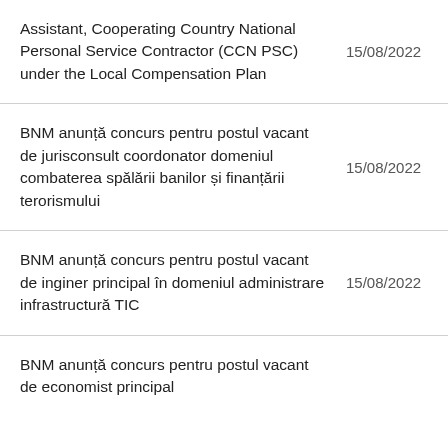Assistant, Cooperating Country National Personal Service Contractor (CCN PSC) under the Local Compensation Plan — 15/08/2022
BNM anunță concurs pentru postul vacant de jurisconsult coordonator domeniul combaterea spălării banilor și finanțării terorismului — 15/08/2022
BNM anunță concurs pentru postul vacant de inginer principal în domeniul administrare infrastructură TIC — 15/08/2022
BNM anunță concurs pentru postul vacant de economist principal